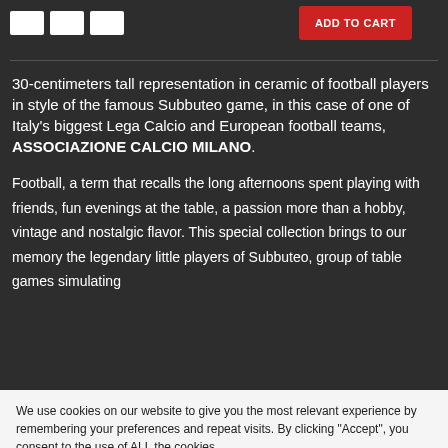[Figure (other): Size selector boxes (white rectangles) and red Add to cart button at top of dark background section]
30-centimeters tall representation in ceramic of football players in style of the famous Subbuteo game, in this case of one of Italy's biggest Lega Calcio and European football teams, ASSOCIAZIONE CALCIO MILANO.
Football, a term that recalls the long afternoons spent playing with friends, fun evenings at the table, a passion more than a hobby, vintage and nostalgic flavor. This special collection brings to our memory the legendary little players of Subbuteo, group of table games simulating
We use cookies on our website to give you the most relevant experience by remembering your preferences and repeat visits. By clicking “Accept”, you consent to the use of ALL the cookies.
Do not sell my personal information.
Cookie settings
ACCEPT